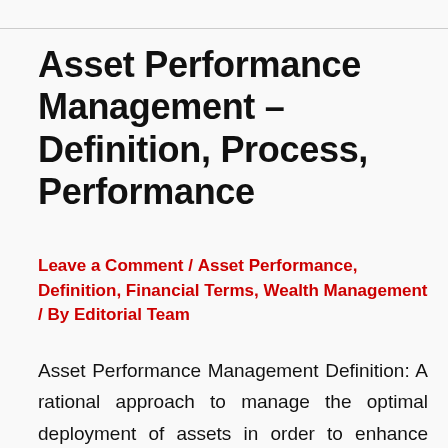Asset Performance Management – Definition, Process, Performance
Leave a Comment / Asset Performance, Definition, Financial Terms, Wealth Management / By Editorial Team
Asset Performance Management Definition: A rational approach to manage the optimal deployment of assets in order to enhance effectiveness and certainty in product supply, prioritizing the real margin contribution by asset by